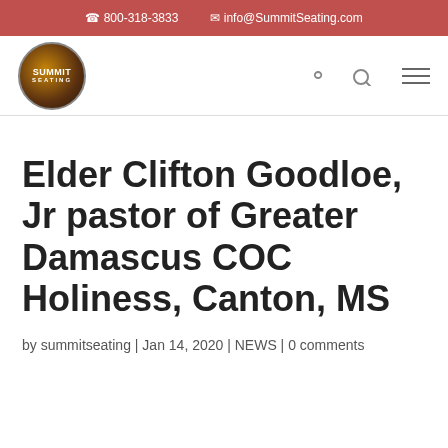800-318-3833  info@SummitSeating.com
[Figure (logo): Summit Seating circular logo with brown/amber gradient and navigation icons (search and hamburger menu)]
Elder Clifton Goodloe, Jr pastor of Greater Damascus COC Holiness, Canton, MS
by summitseating | Jan 14, 2020 | NEWS | 0 comments